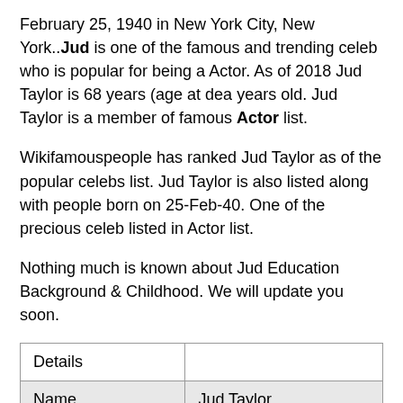February 25, 1940 in New York City, New York..Jud is one of the famous and trending celeb who is popular for being a Actor. As of 2018 Jud Taylor is 68 years (age at dea years old. Jud Taylor is a member of famous Actor list.
Wikifamouspeople has ranked Jud Taylor as of the popular celebs list. Jud Taylor is also listed along with people born on 25-Feb-40. One of the precious celeb listed in Actor list.
Nothing much is known about Jud Education Background & Childhood. We will update you soon.
| Details |  |
| --- | --- |
| Name | Jud Taylor |
| Age (as of 2018) | 68 years (age at dea |